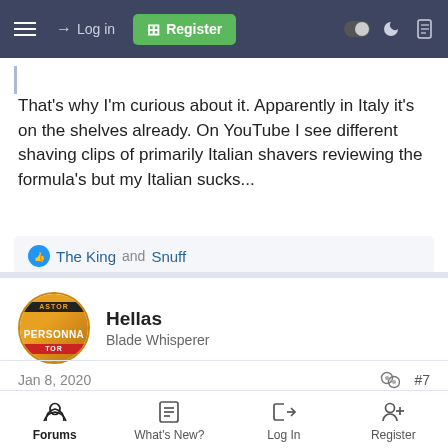Log in | Register
That's why I'm curious about it. Apparently in Italy it's on the shelves already. On YouTube I see different shaving clips of primarily Italian shavers reviewing the formula's but my Italian sucks...
👍 The King and Snuff
Hellas
Blade Whisperer
Jan 8, 2020
#7
Forums | What's New? | Log In | Register